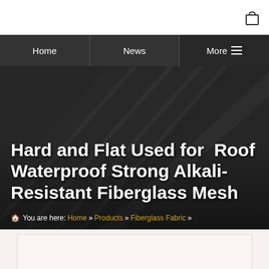[Figure (screenshot): Top navigation bar with cart icon, Home, News, and More menu items on dark background, followed by a hero image showing dark textured/mesh material with diagonal structural elements]
Hard and Flat Used for  Roof Waterproof Strong Alkali-Resistant Fiberglass Mesh
🏠 You are here: Home » Products » Fiberglass Fabric »